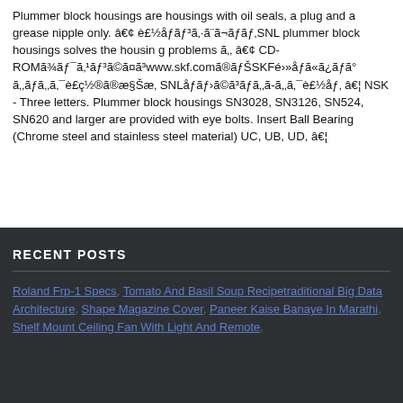Plummer block housings are housings with oil seals, a plug and a grease nipple only. â€¢ è£½åƒãƒ³ã‚·ã¨ã¬ãƒãƒ‚SNL plummer block housings solves the housin g problems ã‚‚ â€¢ CD-ROMã¾ãƒ¯ã‚¹ãƒ³ã©ã¤ã³www.skf.comã®ãƒŠSKFé›»åƒã«ã¿ãƒã° ã‚‚ãƒã‚‚ã‚¯è£ç½®ã®æ§Šæ‚ SNLåƒãƒ›ã©ã³ãƒã‚‚ã-ã‚‚ã‚¯è£½åƒ‚ â€¦ NSK - Three letters. Plummer block housings SN3028, SN3126, SN524, SN620 and larger are provided with eye bolts. Insert Ball Bearing (Chrome steel and stainless steel material) UC, UB, UD, â€¦
RECENT POSTS
Roland Frp-1 Specs, Tomato And Basil Soup Recipetraditional Big Data Architecture, Shape Magazine Cover, Paneer Kaise Banaye In Marathi, Shelf Mount Ceiling Fan With Light And Remote,